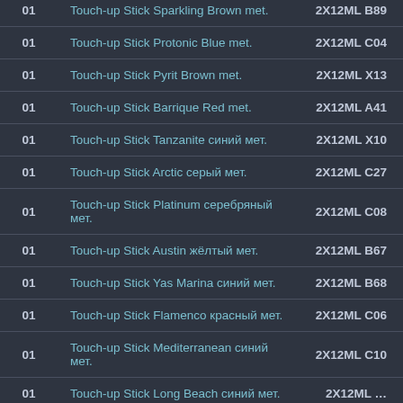| Qty | Product Name | Code |
| --- | --- | --- |
| 01 | Touch-up Stick Sparkling Brown met. | 2X12ML B89 |
| 01 | Touch-up Stick Protonic Blue met. | 2X12ML C04 |
| 01 | Touch-up Stick Pyrit Brown met. | 2X12ML X13 |
| 01 | Touch-up Stick Barrique Red met. | 2X12ML A41 |
| 01 | Touch-up Stick Tanzanite синий мет. | 2X12ML X10 |
| 01 | Touch-up Stick Arctic серый мет. | 2X12ML C27 |
| 01 | Touch-up Stick Platinum серебряный мет. | 2X12ML C08 |
| 01 | Touch-up Stick Austin жёлтый мет. | 2X12ML B67 |
| 01 | Touch-up Stick Yas Marina синий мет. | 2X12ML B68 |
| 01 | Touch-up Stick Flamenco красный мет. | 2X12ML C06 |
| 01 | Touch-up Stick Mediterranean синий мет. | 2X12ML C10 |
| 01 | Touch-up Stick Long Beach синий мет. | 2X12ML … |
| 01 | Touch-up Stick Sonic Speed синий мет. | 2X12ML …A |